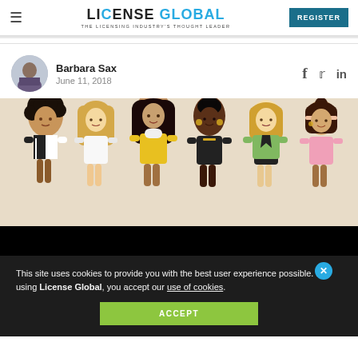LICENSE GLOBAL — THE LICENSING INDUSTRY'S THOUGHT LEADER | REGISTER
Barbara Sax
June 11, 2018
[Figure (photo): Row of six diverse Barbie dolls wearing various outfits including a Juventus jersey, white suit, yellow outfit, black outfit, green jacket, and pink top]
This site uses cookies to provide you with the best user experience possible. By using License Global, you accept our use of cookies.
ACCEPT